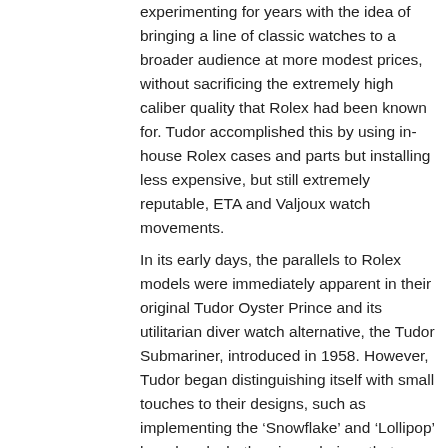experimenting for years with the idea of bringing a line of classic watches to a broader audience at more modest prices, without sacrificing the extremely high caliber quality that Rolex had been known for. Tudor accomplished this by using in-house Rolex cases and parts but installing less expensive, but still extremely reputable, ETA and Valjoux watch movements.
In its early days, the parallels to Rolex models were immediately apparent in their original Tudor Oyster Prince and its utilitarian diver watch alternative, the Tudor Submariner, introduced in 1958. However, Tudor began distinguishing itself with small touches to their designs, such as implementing the ‘Snowflake’ and ‘Lollipop’ hour hands, both unique choices that gave Tudor their own design separate from their Rolex siblings. This trend continued through the turn of the century and into current models, as Tudor continued to establish its own voice and style in its timepieces, operating independently of the